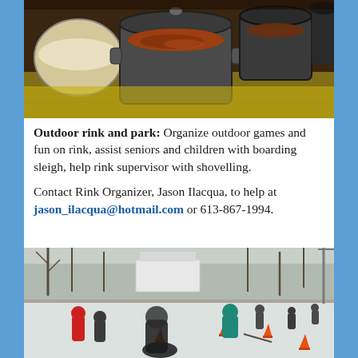[Figure (photo): Multiple slow cookers/crock pots on a table with a yellow checkered cloth, filled with various soups or stews. Lids partially open showing brown and reddish liquid contents.]
Outdoor rink and park: Organize outdoor games and fun on rink, assist seniors and children with boarding sleigh, help rink supervisor with shovelling.
Contact Rink Organizer, Jason Ilacqua, to help at jason_ilacqua@hotmail.com or 613-867-1994.
[Figure (photo): Outdoor ice rink in winter with people skating. Orange cones on the ice, trees and a house visible in the background. Several people in winter clothing skating on the rink.]